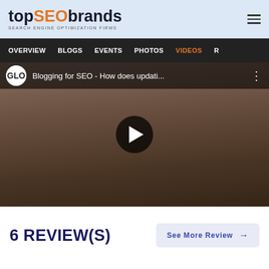topSEObrands – SEARCH ENGINE OPTIMIZATION FIRMS
OVERVIEW  BLOGS  EVENTS  PHOTOS  VIDEOS
[Figure (screenshot): YouTube-style video thumbnail showing a woman with long dark hair wearing a black t-shirt. Video title reads: 'Blogging for SEO - How does updati...' with a GLO channel logo and a play button overlay.]
6 REVIEW(S)
See More Review →